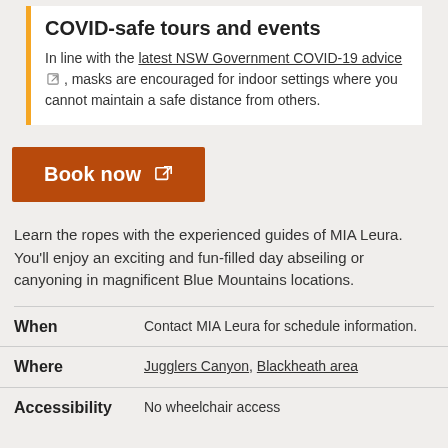COVID-safe tours and events
In line with the latest NSW Government COVID-19 advice, masks are encouraged for indoor settings where you cannot maintain a safe distance from others.
Book now
Learn the ropes with the experienced guides of MIA Leura. You'll enjoy an exciting and fun-filled day abseiling or canyoning in magnificent Blue Mountains locations.
| Field | Value |
| --- | --- |
| When | Contact MIA Leura for schedule information. |
| Where | Jugglers Canyon, Blackheath area |
| Accessibility | No wheelchair access |